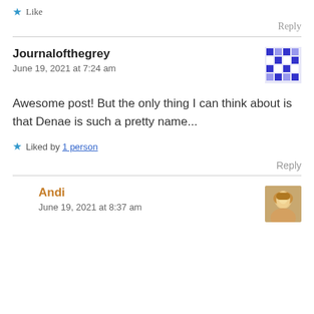★ Like
Reply
Journalofthegrey
June 19, 2021 at 7:24 am
[Figure (other): Identicon avatar for Journalofthegrey — blue and white pixel pattern]
Awesome post! But the only thing I can think about is that Denae is such a pretty name...
★ Liked by 1 person
Reply
Andi
June 19, 2021 at 8:37 am
[Figure (photo): Profile photo of Andi — woman with blonde hair]